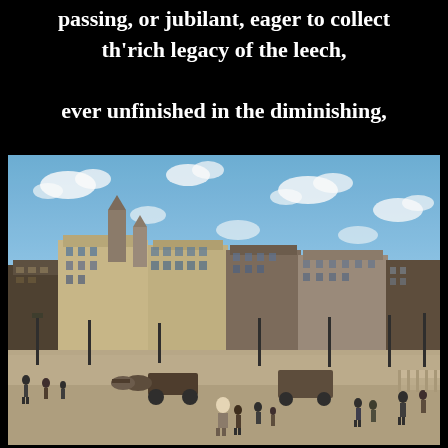passing, or jubilant, eager to collect th'rich legacy of the leech,

ever unfinished in the diminishing,
[Figure (illustration): Impressionist painting of a busy Parisian street scene with grand Haussmann-style buildings, blue sky with white clouds, horse-drawn carriages, and many pedestrians on a wide boulevard or bridge — likely Pont Neuf or a similar Paris scene in the style of Renoir or Pissarro.]